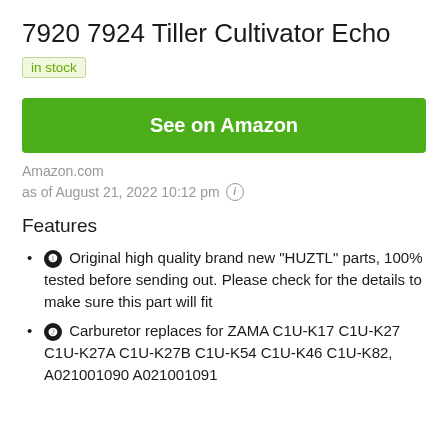7920 7924 Tiller Cultivator Echo
in stock
See on Amazon
Amazon.com
as of August 21, 2022 10:12 pm ℹ
Features
❶ Original high quality brand new "HUZTL" parts, 100% tested before sending out. Please check for the details to make sure this part will fit
❷ Carburetor replaces for ZAMA C1U-K17 C1U-K27 C1U-K27A C1U-K27B C1U-K54 C1U-K46 C1U-K82, A021001090 A021001091